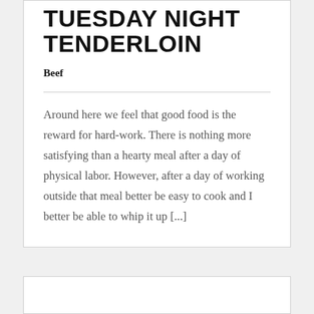TUESDAY NIGHT TENDERLOIN
Beef
Around here we feel that good food is the reward for hard-work. There is nothing more satisfying than a hearty meal after a day of physical labor. However, after a day of working outside that meal better be easy to cook and I better be able to whip it up [...]